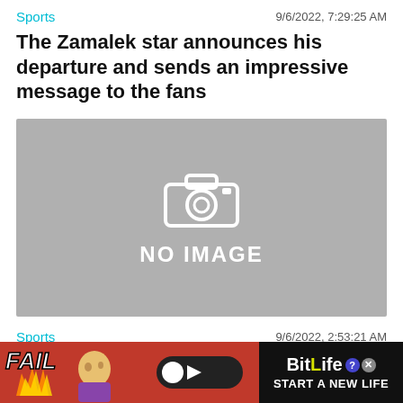Sports | 9/6/2022, 7:29:25 AM
The Zamalek star announces his departure and sends an impressive message to the fans
[Figure (photo): No image placeholder — grey box with camera icon and text 'NO IMAGE']
Sports | 9/6/2022, 2:53:21 AM
There are only four people left in training and need to be replaced by a coach.
[Figure (infographic): Advertisement banner for BitLife game — red background with FAIL text, cartoon character, flames, BitLife logo, and 'START A NEW LIFE' text]